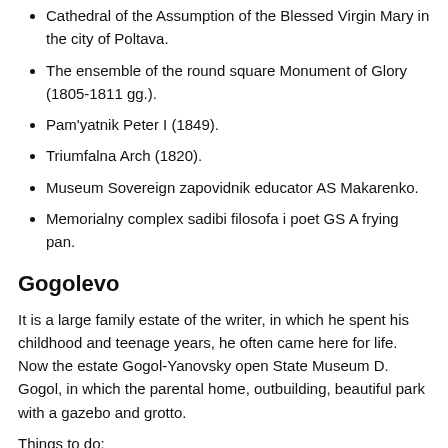Cathedral of the Assumption of the Blessed Virgin Mary in the city of Poltava.
The ensemble of the round square Monument of Glory (1805-1811 gg.).
Pam'yatnik Peter I (1849).
Triumfalna Arch (1820).
Museum Sovereign zapovidnik educator AS Makarenko.
Memorialny complex sadibi filosofa i poet GS A frying pan.
Gogolevo
It is a large family estate of the writer, in which he spent his childhood and teenage years, he often came here for life. Now the estate Gogol-Yanovsky open State Museum D. Gogol, in which the parental home, outbuilding, beautiful park with a gazebo and grotto.
Things to do:
Museum-Reserve of M. Gogol. Gogolevo.
Homutets
An old Cossack town in which the ancestral palace Muravyovih